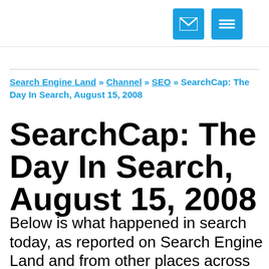[envelope icon] [menu icon]
Search Engine Land » Channel » SEO » SearchCap: The Day In Search, August 15, 2008
SearchCap: The Day In Search, August 15, 2008
Below is what happened in search today, as reported on Search Engine Land and from other places across the web. From Search Engine Land: Banners For (SEM)